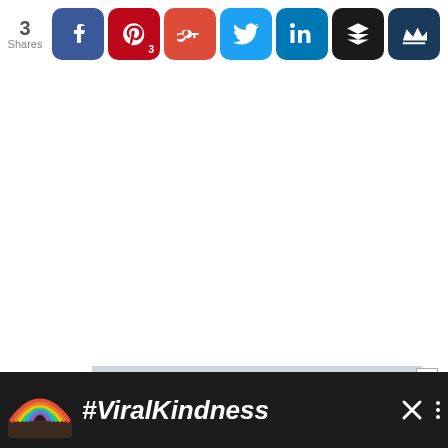[Figure (infographic): Social share bar with count showing 3 Shares, and 7 social media buttons: Facebook (blue), Pinterest (red, badge 3), Google+ (red-orange), Twitter (blue), LinkedIn (blue), Buffer (black), and a crown icon button (dark blue).]
[Figure (infographic): Advertisement banner at the bottom showing rainbow illustration and #ViralKindness text in white on dark background.]